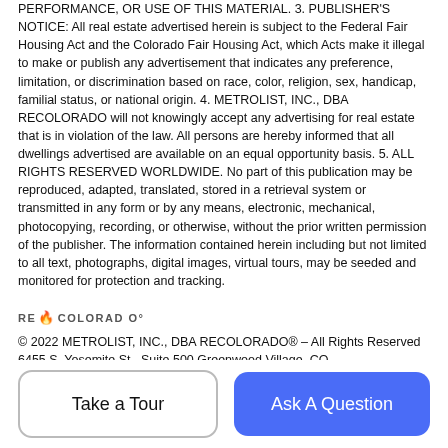PERFORMANCE, OR USE OF THIS MATERIAL. 3. PUBLISHER'S NOTICE: All real estate advertised herein is subject to the Federal Fair Housing Act and the Colorado Fair Housing Act, which Acts make it illegal to make or publish any advertisement that indicates any preference, limitation, or discrimination based on race, color, religion, sex, handicap, familial status, or national origin. 4. METROLIST, INC., DBA RECOLORADO will not knowingly accept any advertising for real estate that is in violation of the law. All persons are hereby informed that all dwellings advertised are available on an equal opportunity basis. 5. ALL RIGHTS RESERVED WORLDWIDE. No part of this publication may be reproduced, adapted, translated, stored in a retrieval system or transmitted in any form or by any means, electronic, mechanical, photocopying, recording, or otherwise, without the prior written permission of the publisher. The information contained herein including but not limited to all text, photographs, digital images, virtual tours, may be seeded and monitored for protection and tracking.
[Figure (logo): RE/COLORADO logo with flame icon]
© 2022 METROLIST, INC., DBA RECOLORADO® – All Rights Reserved 6455 S. Yosemite St., Suite 500 Greenwood Village, CO